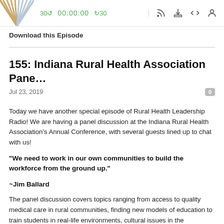[Figure (screenshot): Podcast player bar with logo, skip back 30 button, 00:00:00 time display, skip forward 30 button, and icons for RSS, download, embed code, and account/user]
Download this Episode
155: Indiana Rural Health Association Pane…
Jul 23, 2019
Today we have another special episode of Rural Health Leadership Radio! We are having a panel discussion at the Indiana Rural Health Association's Annual Conference, with several guests lined up to chat with us!
“We need to work in our own communities to build the workforce from the ground up.”
~Jim Ballard
The panel discussion covers topics ranging from access to quality medical care in rural communities, finding new models of education to train students in real-life environments, cultural issues in the community, to the humanizing technology. The panelists touched on issues they have experienced within their organizations and areas, and shared their best practices and unique solutions that helped bring their community closer together. Along with creative problem solving, the discussion also included what rural healthcare leaders can look to in the future, as well as ways the rural community can work to